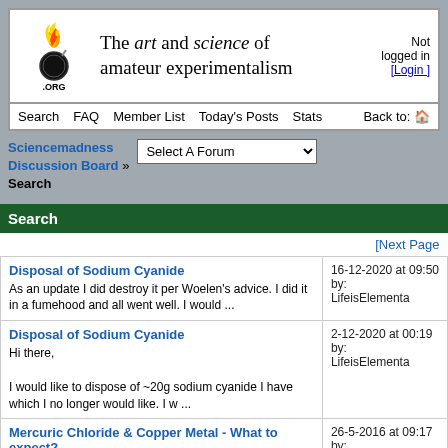[Figure (logo): Sciencemadness .ORG logo with flame and circular icon]
The art and science of amateur experimentalism
Not logged in [Login]
Search  FAQ  Member List  Today's Posts  Stats  Back to:
Sciencemadness Discussion Board » Search
Search
[Next Page
Disposal of Sodium Cyanide
As an update I did destroy it per Woelen's advice. I did it in a fumehood and all went well. I would ...
16-12-2020 at 09:50
by:
LifeisElementa
Disposal of Sodium Cyanide
Hi there,

I would like to dispose of ~20g sodium cyanide I have which I no longer would like. I w ...
2-12-2020 at 00:19
by:
LifeisElementa
Mercuric Chloride & Copper Metal - What to expect?
Hi!

Found this on Wiki:
[quote]
26-5-2016 at 09:17
by:
LifeisElementa